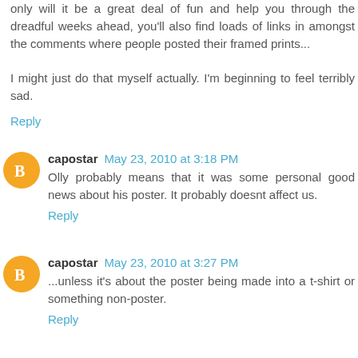only will it be a great deal of fun and help you through the dreadful weeks ahead, you'll also find loads of links in amongst the comments where people posted their framed prints...

I might just do that myself actually. I'm beginning to feel terribly sad.
Reply
capostar May 23, 2010 at 3:18 PM
Olly probably means that it was some personal good news about his poster. It probably doesnt affect us.
Reply
capostar May 23, 2010 at 3:27 PM
...unless it's about the poster being made into a t-shirt or something non-poster.
Reply